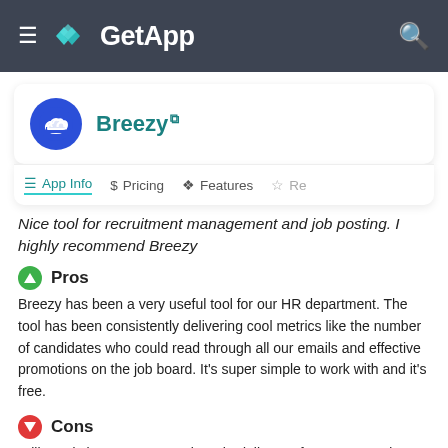GetApp
Breezy
App Info | Pricing | Features | Re…
Nice tool for recruitment management and job posting. I highly recommend Breezy
Pros
Breezy has been a very useful tool for our HR department. The tool has been consistently delivering cool metrics like the number of candidates who could read through all our emails and effective promotions on the job board. It's super simple to work with and it's free.
Cons
Still needs improvement on its scheduling performances. It doesn't just work well.